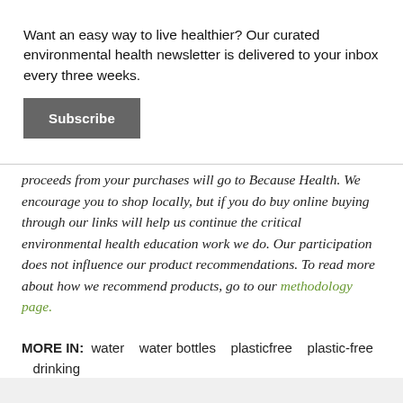×
Want an easy way to live healthier? Our curated environmental health newsletter is delivered to your inbox every three weeks.
Subscribe
proceeds from your purchases will go to Because Health. We encourage you to shop locally, but if you do buy online buying through our links will help us continue the critical environmental health education work we do. Our participation does not influence our product recommendations. To read more about how we recommend products, go to our methodology page.
MORE IN:  water   water bottles   plasticfree   plastic-free   drinking